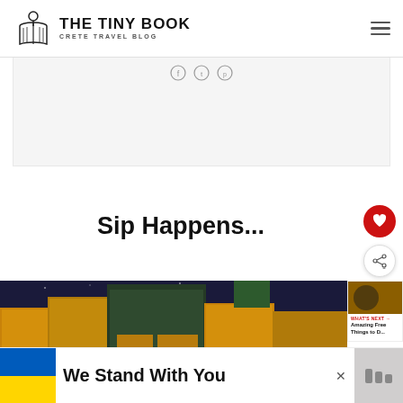[Figure (logo): The Tiny Book — Crete Travel Blog logo with open book and location pin icon]
Sip Happens...
[Figure (photo): Night photo of illuminated buildings with yellow/amber lighting]
WHAT'S NEXT → Amazing Free Things to D...
We Stand With You